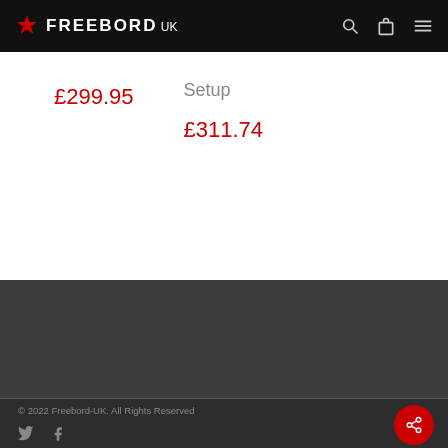FREEBORD UK — navigation header with search, cart, menu icons
£299.95
Setup
£311.74
© 2022 Freebord-UK. All Rights Reserved